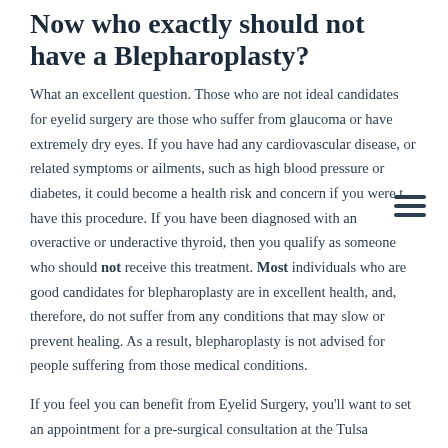Now who exactly should not have a Blepharoplasty?
What an excellent question. Those who are not ideal candidates for eyelid surgery are those who suffer from glaucoma or have extremely dry eyes. If you have had any cardiovascular disease, or related symptoms or ailments, such as high blood pressure or diabetes, it could become a health risk and concern if you were to have this procedure. If you have been diagnosed with an overactive or underactive thyroid, then you qualify as someone who should not receive this treatment. Most individuals who are good candidates for blepharoplasty are in excellent health, and, therefore, do not suffer from any conditions that may slow or prevent healing. As a result, blepharoplasty is not advised for people suffering from those medical conditions.
If you feel you can benefit from Eyelid Surgery, you'll want to set an appointment for a pre-surgical consultation at the Tulsa Cosmetic Surgery Center. This is where Dr...